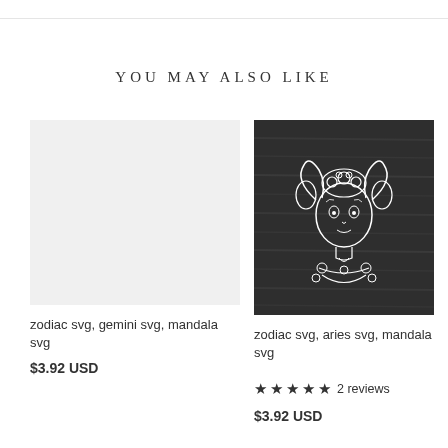YOU MAY ALSO LIKE
[Figure (illustration): Light gray placeholder rectangle for zodiac gemini svg product thumbnail]
zodiac svg, gemini svg, mandala svg
$3.92 USD
[Figure (photo): Dark chalkboard background with white decorative aries zodiac figure illustration — a stylized girl face with ram horns and mandala patterns]
zodiac svg, aries svg, mandala svg
★★★★★ 2 reviews
$3.92 USD